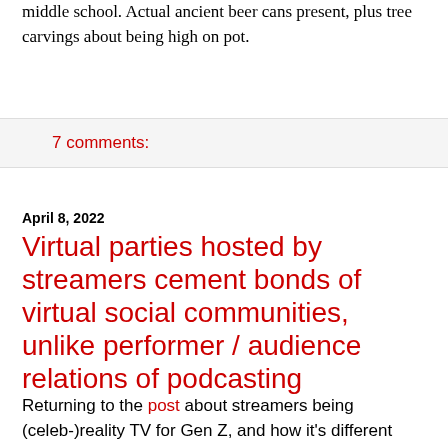middle school. Actual ancient beer cans present, plus tree carvings about being high on pot.
7 comments:
April 8, 2022
Virtual parties hosted by streamers cement bonds of virtual social communities, unlike performer / audience relations of podcasting
Returning to the post about streamers being (celeb-)reality TV for Gen Z, and how it's different from the podcasting format dominated by Millennials, I've noticed that the streamers host a lot of themed parties.
Several Hololive girls have had birthdays recently, and they have an entire stream whose point is, "Hey you, scrolling alone over there -- you're invited to attend my birthday party